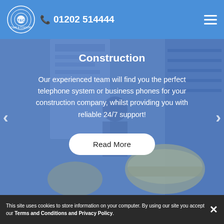Town & Country Communications & IT Solutions — 01202 514444
[Figure (screenshot): Construction workers in hard hats reviewing plans, shown as a blue-tinted background image behind a slider panel]
Construction
Our experienced team will find you the perfect telephone system or business phones for your construction company, whilst providing you with reliable 24/7 support!
Read More
This site uses cookies to store information on your computer. By using our site you accept our Terms and Conditions and Privacy Policy.